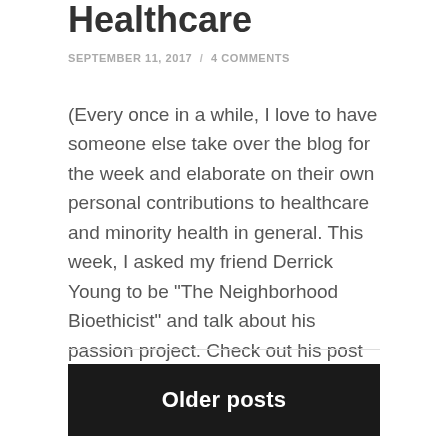Healthcare
SEPTEMBER 11, 2017 / 4 COMMENTS
(Every once in a while, I love to have someone else take over the blog for the week and elaborate on their own personal contributions to healthcare and minority health in general. This week, I asked my friend Derrick Young to be "The Neighborhood Bioethicist" and talk about his passion project. Check out his post …
Continue reading
Older posts